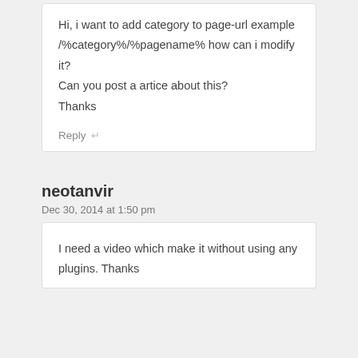Hi, i want to add category to page-url example /%category%/%pagename% how can i modify it?
Can you post a artice about this?
Thanks
Reply ↵
neotanvir
Dec 30, 2014 at 1:50 pm
I need a video which make it without using any plugins. Thanks